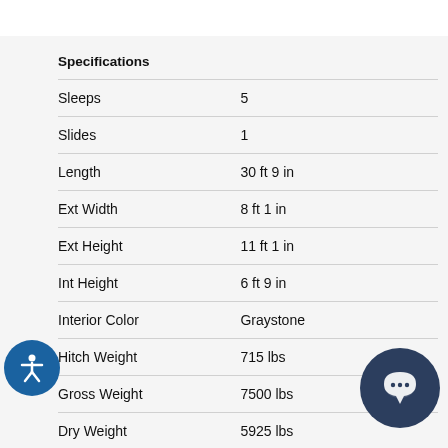Specifications
| Specification | Value |
| --- | --- |
| Sleeps | 5 |
| Slides | 1 |
| Length | 30 ft 9 in |
| Ext Width | 8 ft 1 in |
| Ext Height | 11 ft 1 in |
| Int Height | 6 ft 9 in |
| Interior Color | Graystone |
| Hitch Weight | 715 lbs |
| Gross Weight | 7500 lbs |
| Dry Weight | 5925 lbs |
| Cargo Weight | 1345 lbs |
| Fresh Water Capacity | 42 gals |